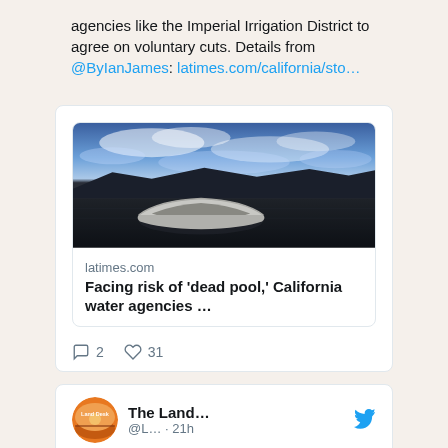agencies like the Imperial Irrigation District to agree on voluntary cuts. Details from @ByIanJames: latimes.com/california/sto…
[Figure (photo): Photograph of an abandoned boat lying on dry cracked ground under a dramatic blue cloudy sky — illustrating drought conditions.]
latimes.com
Facing risk of 'dead pool,' California water agencies …
2  31
The Land... @L… · 21h
Hey #Sofia #Bulgaria